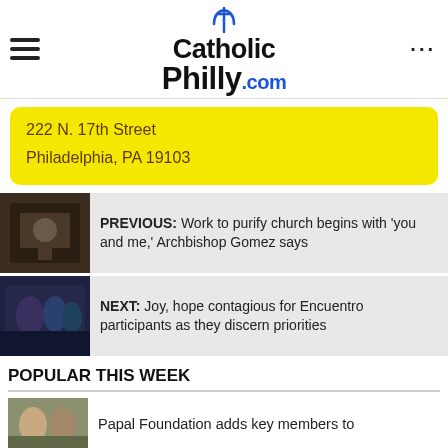CatholicPhilly.com
222 N. 17th Street
Philadelphia, PA 19103
PREVIOUS: Work to purify church begins with 'you and me,' Archbishop Gomez says
NEXT: Joy, hope contagious for Encuentro participants as they discern priorities
POPULAR THIS WEEK
Papal Foundation adds key members to